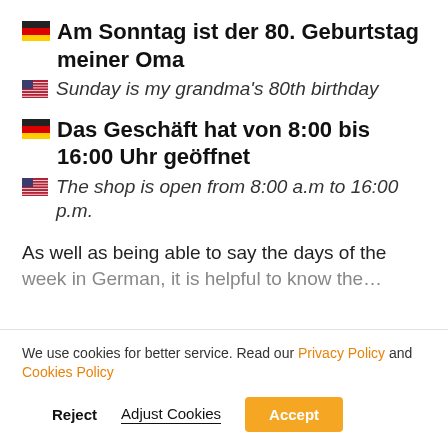🇩🇪 Am Sonntag ist der 80. Geburtstag meiner Oma
🇺🇸 Sunday is my grandma's 80th birthday
🇩🇪 Das Geschäft hat von 8:00 bis 16:00 Uhr geöffnet
🇺🇸 The shop is open from 8:00 a.m to 16:00 p.m.
As well as being able to say the days of the week in German, it is helpful to know…
We use cookies for better service. Read our Privacy Policy and Cookies Policy